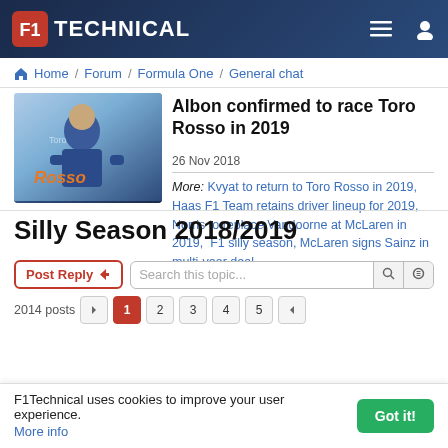F1Technical — navigation bar with logo, menu and user icon
Home / Forum / Formula One / General chat
[Figure (photo): Photo of a racing driver in Toro Rosso uniform standing in front of a Toro Rosso backdrop]
Albon confirmed to race Toro Rosso in 2019
26 Nov 2018
More: Kvyat to return to Toro Rosso in 2019, Haas F1 Team retains driver lineup for 2019, Norris to replace Vandoorne at McLaren in 2019, F1 silly season, McLaren signs Sainz in multi-year deal
Silly Season 2018/2019
Post Reply   Search this topic...
2014 posts  1 2 3 4 5
F1Technical uses cookies to improve your user experience. More info  Got it!